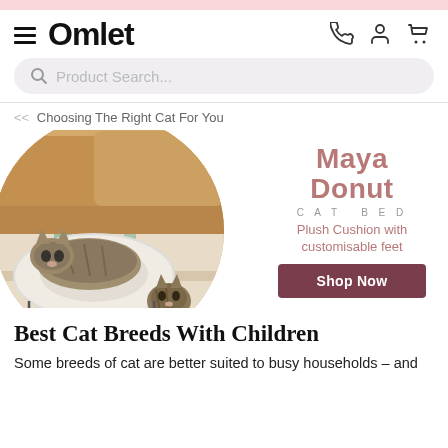Omlet — navigation bar with hamburger menu, logo, phone, account, and cart icons
Product Search...
<< Choosing The Right Cat For You
[Figure (photo): Two cats near a white donut-shaped cat bed placed on a colorful rug in front of a tan leather sofa. One cat is lying in the bed, another small tabby kitten sits beside it.]
[Figure (infographic): Maya Donut Cat Bed advertisement panel with brand name in mauve/dusty rose lettering, subtitle CAT BED, Plush Cushion with customisable feet text, and Shop Now button.]
Best Cat Breeds With Children
Some breeds of cat are better suited to busy households – and